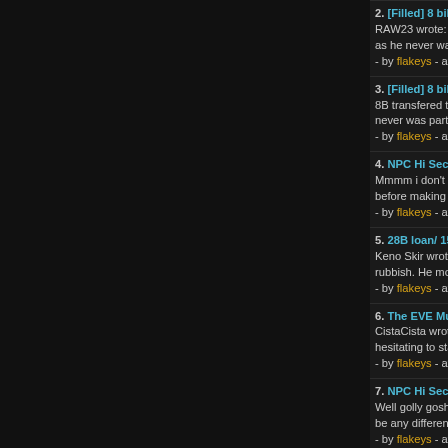2. [Filled] 8 billion ISK loan @ 1%/mo. for 6 months - RAW23 wrote: flakeys wrote: Well cista in regards to those as he never was part of any investment of mine anyway Ac - by flakeys - at 2017.07.11 19:56:46
3. [Filled] 8 billion ISK loan @ 1%/mo. for 6 months - in 8B transfered to raw23 . Well cista in regards to those nam never was part of any investment of mine anyway - by flakeys - at 2017.07.11 12:45:53
4. NPC Hi Sec Blue Community - in EVE General Discuss Mmmm i don't know why but this season of the spanish soa before making it seem repetitive , that it is focussed on high - by flakeys - at 2017.07.07 18:07:17
5. 28B loan/ 15% Uncollateralized over three months - i Keno Skir wrote: Liam Lasky wrote: the space I'm living in is rubbish. He moved to PHORDE in between making this req - by flakeys - at 2017.07.07 16:09:09
6. The EVE Museum SafeSpace - in Market Discussions [ CistaCista wrote: So, last update from me on the precious c hesitating to start actual trade in there. Cista2 donated the t - by flakeys - at 2017.07.07 16:07:20
7. NPC Hi Sec Blue Community - in EVE General Discuss Well golly gosh , an aaron thread and it has dracvlad in it.W be any different , but still it's at least a change in plans. - by flakeys - at 2017.07.05 14:13:46
8. 50B Loan - Uncollateralized Pay back in 2 Weeks+20 Keno Skir wrote: Very interested in what the collateral was? - by flakeys - at 2017.07.04 13:19:14